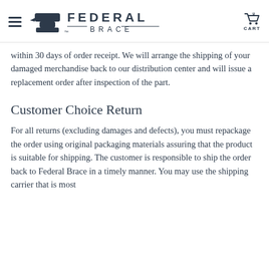FEDERAL BRACE [logo] CART
within 30 days of order receipt. We will arrange the shipping of your damaged merchandise back to our distribution center and will issue a replacement order after inspection of the part.
Customer Choice Return
For all returns (excluding damages and defects), you must repackage the order using original packaging materials assuring that the product is suitable for shipping. The customer is responsible to ship the order back to Federal Brace in a timely manner. You may use the shipping carrier that is most